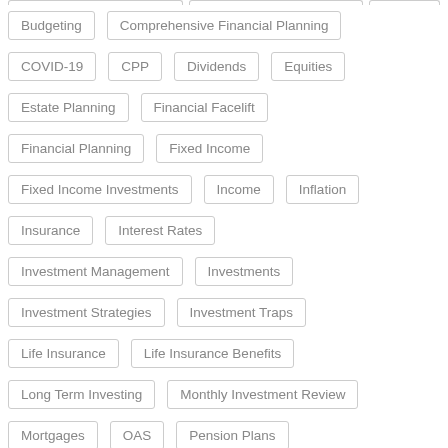Budgeting
Comprehensive Financial Planning
COVID-19
CPP
Dividends
Equities
Estate Planning
Financial Facelift
Financial Planning
Fixed Income
Fixed Income Investments
Income
Inflation
Insurance
Interest Rates
Investment Management
Investments
Investment Strategies
Investment Traps
Life Insurance
Life Insurance Benefits
Long Term Investing
Monthly Investment Review
Mortgages
OAS
Pension Plans
Portfolio Management
Real Estate
Retirement